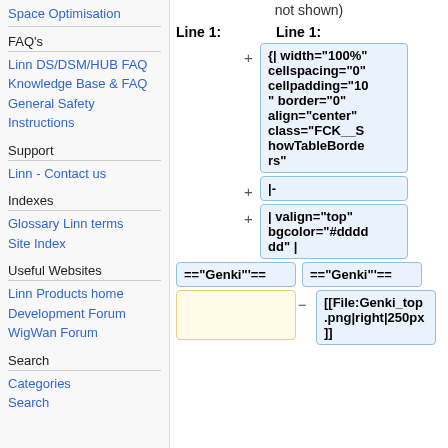Space Optimisation
FAQ's
Linn DS/DSM/HUB FAQ
Knowledge Base & FAQ
General Safety Instructions
Support
Linn - Contact us
Indexes
Glossary Linn terms
Site Index
Useful Websites
Linn Products home
Development Forum
WigWan Forum
Search
Categories
Search
not shown)
Line 1:
Line 1:
{| width="100%" cellspacing="0" cellpadding="10" border="0" align="center" class="FCK__ShowTableBorders"
|-
| valign="top" bgcolor="#dddddd" |
=="Genki"==
=="Genki"==
[[File:Genki_top.png|right|250px]]